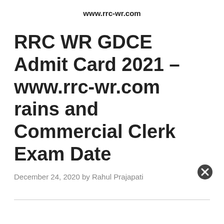www.rrc-wr.com
RRC WR GDCE Admit Card 2021 – www.rrc-wr.com rains and Commercial Clerk Exam Date
December 24, 2020 by Rahul Prajapati